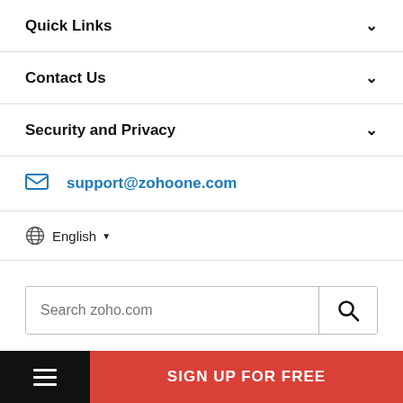Quick Links
Contact Us
Security and Privacy
support@zohoone.com
English
Search zoho.com
© 2022, Zoho Corporation Pvt. Ltd. All Rights Reserved.
SIGN UP FOR FREE